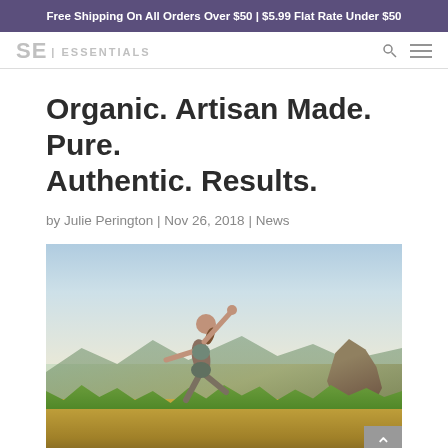Free Shipping On All Orders Over $50 | $5.99 Flat Rate Under $50
[Figure (logo): SE Essentials brand logo in gray text]
Organic. Artisan Made. Pure. Authentic. Results.
by Julie Perington | Nov 26, 2018 | News
[Figure (photo): Woman practicing yoga outdoors on a grassy hillside with scenic mountain landscape and dramatic sky in background]